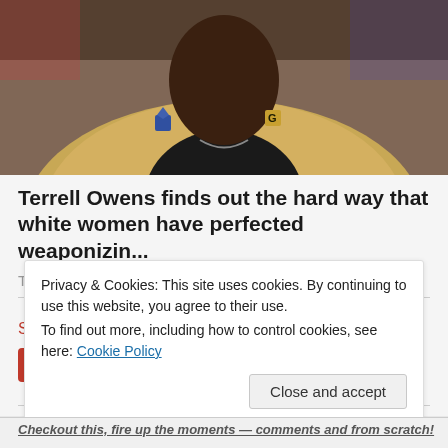[Figure (photo): Photo of Terrell Owens wearing a gold/tan blazer with lapel pins, dark shirt, and chain necklace, shown from chest up against a blurred background]
Terrell Owens finds out the hard way that white women have perfected weaponizin...
The Grio
Share this:
Save
More
Privacy & Cookies: This site uses cookies. By continuing to use this website, you agree to their use.
To find out more, including how to control cookies, see here: Cookie Policy
Close and accept